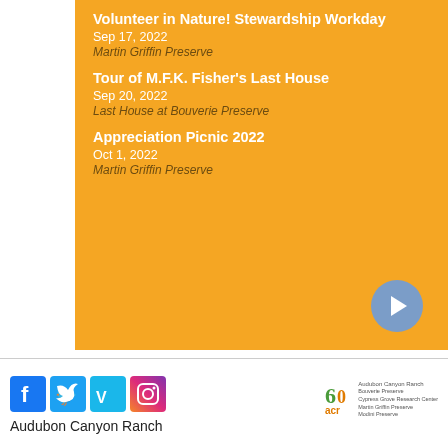Volunteer in Nature! Stewardship Workday
Sep 17, 2022
Martin Griffin Preserve
Tour of M.F.K. Fisher's Last House
Sep 20, 2022
Last House at Bouverie Preserve
Appreciation Picnic 2022
Oct 1, 2022
Martin Griffin Preserve
[Figure (other): Arrow button pointing right in blue circle]
[Figure (other): Social media icons: Facebook, Twitter, Vimeo, Instagram]
Audubon Canyon Ranch
[Figure (logo): Audubon Canyon Ranch 60th anniversary ACR logo with preserves listed]